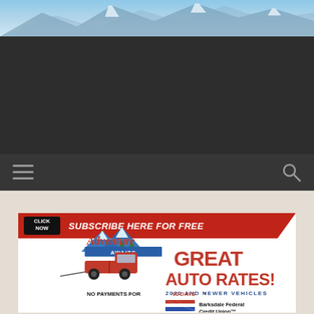[Figure (photo): Mountain landscape header photo with sky and peaks]
[Figure (screenshot): Dark navigation bar with hamburger menu icon on left and search icon on right]
[Figure (infographic): Advertisement banner for Barksdale Federal Credit Union auto loan promotion. Red top bar with CLICK NOW button and SUBSCRIBE HERE FOR FREE text. Body shows Adventure Awaits illustration with red pickup truck and mountains, and text GREAT AUTO RATES! 2020 AND NEWER VEHICLES, NO PAYMENTS FOR 90 DAYS, Barksdale Federal Credit Union logo.]